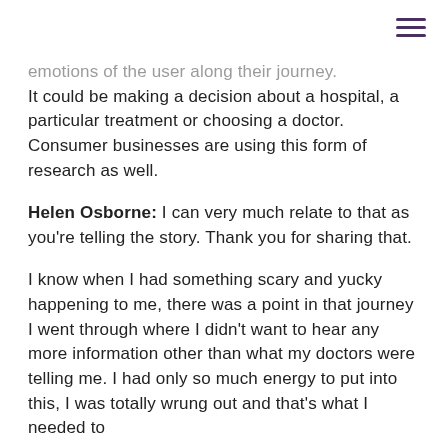emotions of the user along their journey. It could be making a decision about a hospital, a particular treatment or choosing a doctor. Consumer businesses are using this form of research as well.
Helen Osborne: I can very much relate to that as you're telling the story. Thank you for sharing that.
I know when I had something scary and yucky happening to me, there was a point in that journey I went through where I didn't want to hear any more information other than what my doctors were telling me. I had only so much energy to put into this, I was totally wrung out and that's what I needed to